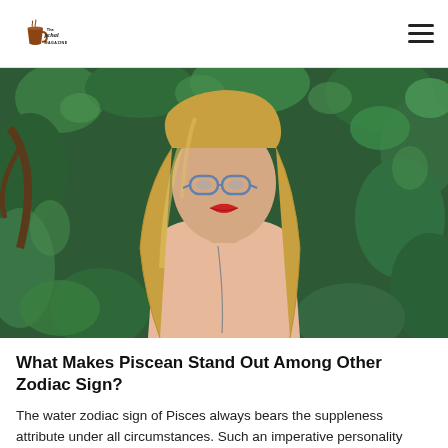The Chai Magazine
[Figure (photo): Young blonde woman with glasses and red lipstick wearing a peach top, standing in front of dense green ivy leaves]
What Makes Piscean Stand Out Among Other Zodiac Sign?
The water zodiac sign of Pisces always bears the suppleness attribute under all circumstances. Such an imperative personality aspect makes the most liked zodi...
theastromag.in